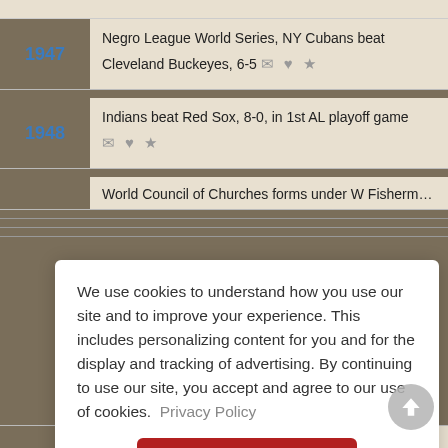1947 — Negro League World Series, NY Cubans beat Cleveland Buckeyes, 6-5
1948 — Indians beat Red Sox, 8-0, in 1st AL playoff game
World Council of Churches forms under W Fisherman It [partial, obscured]
We use cookies to understand how you use our site and to improve your experience. This includes personalizing content for you and for the display and tracking of advertising. By continuing to use our site, you accept and agree to our use of cookies. Privacy Policy
Got it!
In opening World Series game, Giant Monte Irvin steals [partial]